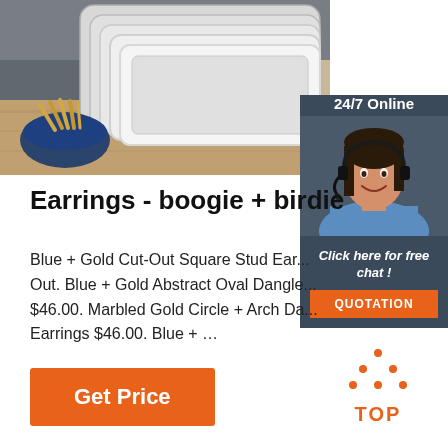[Figure (photo): Product photo showing stainless steel gastronorm trays arranged diagonally, with a bowl of breadsticks visible in lower left on wooden surface background]
[Figure (photo): 24/7 Online chat widget with smiling female agent wearing headset and blue shirt, on dark navy background. Includes 'Click here for free chat!' text and orange QUOTATION button]
Earrings - boogie + birdie
Blue + Gold Cut-Out Square Stud Ear... Out. Blue + Gold Abstract Oval Dangle... $46.00. Marbled Gold Circle + Arch Da... Earrings $46.00. Blue + …
[Figure (logo): TOP icon - orange dotted triangle/arrow pointing up above the word TOP in orange bold letters]
Get Price